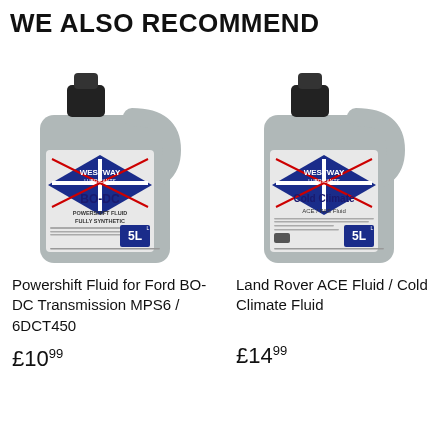WE ALSO RECOMMEND
[Figure (photo): Westway Lubricants BO-DC Powershift Fluid Fully Synthetic 5L bottle]
[Figure (photo): Westway Lubricants Cold Climate ACE / PAS Fluid 5L bottle]
Powershift Fluid for Ford BO-DC Transmission MPS6 / 6DCT450
Land Rover ACE Fluid / Cold Climate Fluid
£10.99
£14.99